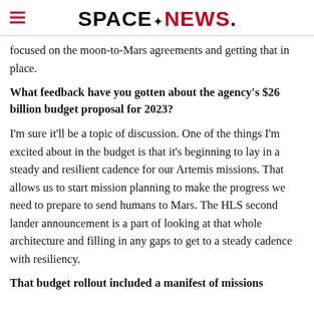SPACENEWS
focused on the moon-to-Mars agreements and getting that in place.
What feedback have you gotten about the agency's $26 billion budget proposal for 2023?
I'm sure it'll be a topic of discussion. One of the things I'm excited about in the budget is that it's beginning to lay in a steady and resilient cadence for our Artemis missions. That allows us to start mission planning to make the progress we need to prepare to send humans to Mars. The HLS second lander announcement is a part of looking at that whole architecture and filling in any gaps to get to a steady cadence with resiliency.
That budget rollout included a manifest of missions